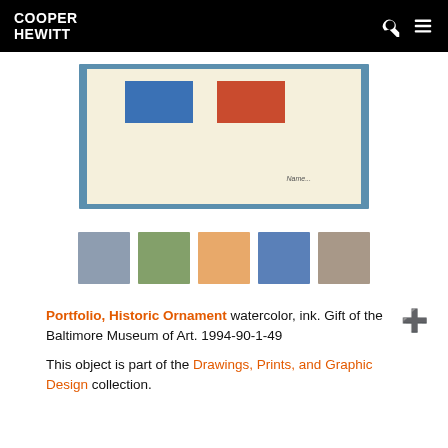COOPER HEWITT
[Figure (photo): Cropped view of a framed artwork portfolio page showing two colored rectangles (blue and red) on cream/ivory paper with a blue frame border]
[Figure (infographic): Five color swatches: slate blue/grey, sage green, peach/orange, medium blue, taupe/warm grey]
Portfolio, Historic Ornament watercolor, ink. Gift of the Baltimore Museum of Art. 1994-90-1-49
This object is part of the Drawings, Prints, and Graphic Design collection.